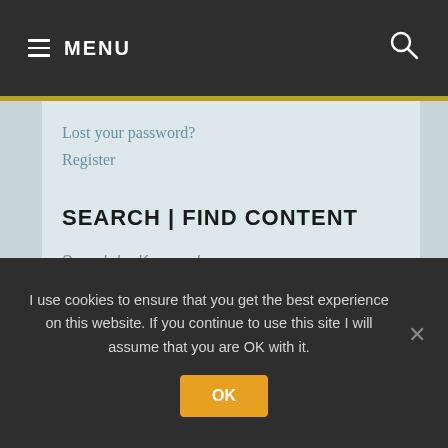≡ MENU
Lost your password?
Register
SEARCH | FIND CONTENT
Search by Keyword
[Figure (screenshot): Search input box with placeholder text 'Enter keywords here...' and a dark search button with magnifying glass icon]
→ Advanced Search
I use cookies to ensure that you get the best experience on this website. If you continue to use this site I will assume that you are OK with it.